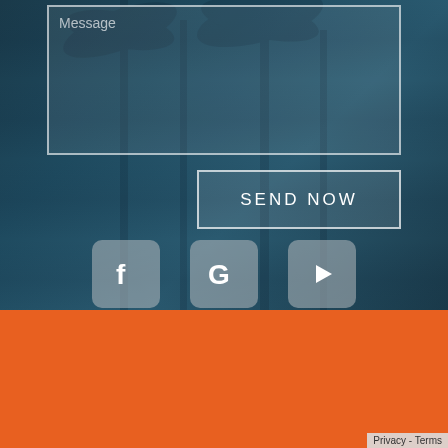[Figure (screenshot): Message textarea input box with light border on dark blue/teal background with palm tree imagery]
Message
SEND NOW
[Figure (other): Three social media icons: Facebook (f), Google (G), YouTube (play button), displayed as rounded square badges on dark background]
A Shop for Smiles
Home
Meet Dr. Hagstrom
Blog
[Figure (logo): Circular logo with surfing wave illustration, orange/blue colors]
Privacy - Terms